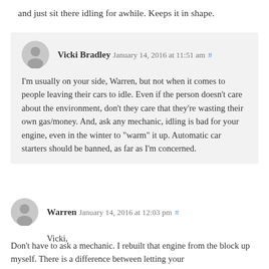and just sit there idling for awhile. Keeps it in shape.
Vicki Bradley January 14, 2016 at 11:51 am # I'm usually on your side, Warren, but not when it comes to people leaving their cars to idle. Even if the person doesn't care about the environment, don't they care that they're wasting their own gas/money. And, ask any mechanic, idling is bad for your engine, even in the winter to "warm" it up. Automatic car starters should be banned, as far as I'm concerned.
Warren January 14, 2016 at 12:03 pm # Vicki, Don't have to ask a mechanic. I rebuilt that engine from the block up myself. There is a difference between letting your